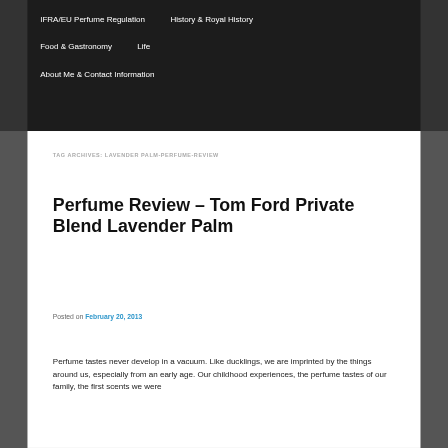IFRA/EU Perfume Regulation    History & Royal History    Food & Gastronomy    Life    About Me & Contact Information
TAG ARCHIVES: LAVENDER PALM-PERFUME-REVIEW
Perfume Review – Tom Ford Private Blend Lavender Palm
Posted on February 20, 2013
Perfume tastes never develop in a vacuum. Like ducklings, we are imprinted by the things around us, especially from an early age. Our childhood experiences, the perfume tastes of our family, the first scents we were